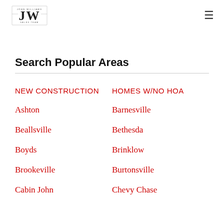[Figure (logo): John Williams Sales Team logo with stylized JW initials]
Search Popular Areas
NEW CONSTRUCTION
HOMES w/NO HOA
Ashton
Barnesville
Beallsville
Bethesda
Boyds
Brinklow
Brookeville
Burtonsville
Cabin John
Chevy Chase